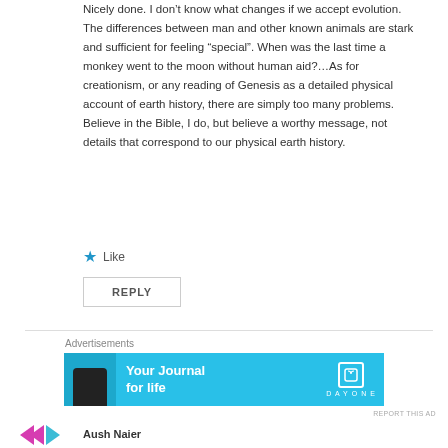Nicely done. I don’t know what changes if we accept evolution. The differences between man and other known animals are stark and sufficient for feeling “special”. When was the last time a monkey went to the moon without human aid?…As for creationism, or any reading of Genesis as a detailed physical account of earth history, there are simply too many problems. Believe in the Bible, I do, but believe a worthy message, not details that correspond to our physical earth history.
Like
REPLY
Advertisements
[Figure (other): Advertisement banner for DayOne app — cyan/blue background with phone image on left, text 'Your Journal for life' in white bold, DayOne logo icon and brand name on right]
REPORT THIS AD
Aush Naier